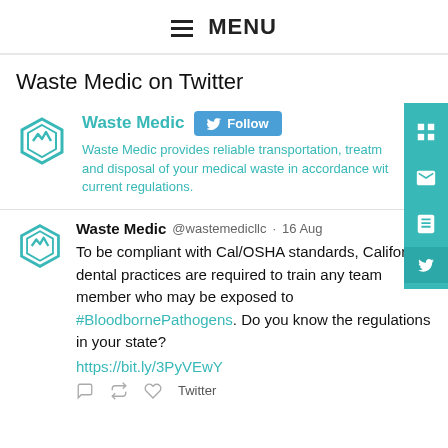≡ MENU
Waste Medic on Twitter
[Figure (screenshot): Waste Medic Twitter profile with logo, name, Follow button, and bio text]
Waste Medic @wastemedicllc · 16 Aug
To be compliant with Cal/OSHA standards, California dental practices are required to train any team member who may be exposed to #BloodbornePathogens. Do you know the regulations in your state?
https://bit.ly/3PyVEwY
Twitter